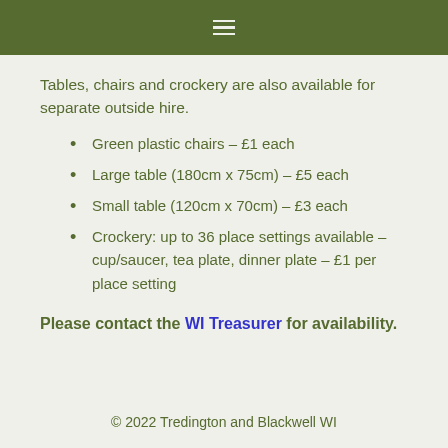≡ (hamburger menu icon)
Tables, chairs and crockery are also available for separate outside hire.
Green plastic chairs – £1 each
Large table (180cm x 75cm) – £5 each
Small table (120cm x 70cm) – £3 each
Crockery: up to 36 place settings available – cup/saucer, tea plate, dinner plate – £1 per place setting
Please contact the WI Treasurer for availability.
© 2022 Tredington and Blackwell WI